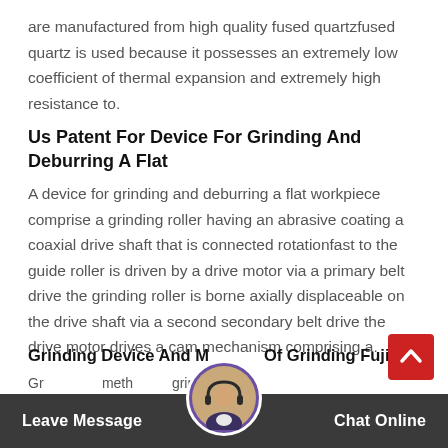are manufactured from high quality fused quartzfused quartz is used because it possesses an extremely low coefficient of thermal expansion and extremely high resistance to.
Us Patent For Device For Grinding And Deburring A Flat
A device for grinding and deburring a flat workpiece comprise a grinding roller having an abrasive coating a coaxial drive shaft that is connected rotationfast to the guide roller is driven by a drive motor via a primary belt drive the grinding roller is borne axially displaceable on the drive shaft via a second secondary belt drive the drive motor drives a cam mechanism comprising a.
Grinding Device And Method Of Grinding Fujitsu
Grinding method grinding